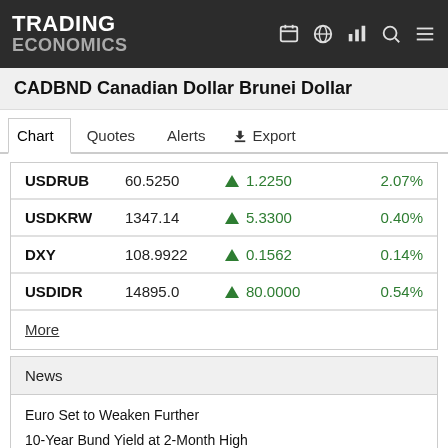TRADING ECONOMICS
CADBND Canadian Dollar Brunei Dollar
Chart  Quotes  Alerts  Export
| Symbol | Value | Change | Change% |
| --- | --- | --- | --- |
| USDRUB | 60.5250 | ▲ 1.2250 | 2.07% |
| USDKRW | 1347.14 | ▲ 5.3300 | 0.40% |
| DXY | 108.9922 | ▲ 0.1562 | 0.14% |
| USDIDR | 14895.0 | ▲ 80.0000 | 0.54% |
More
News
Euro Set to Weaken Further
10-Year Bund Yield at 2-Month High
Hong Kong Stocks Fall
South African Stocks Drop to 3-Week L